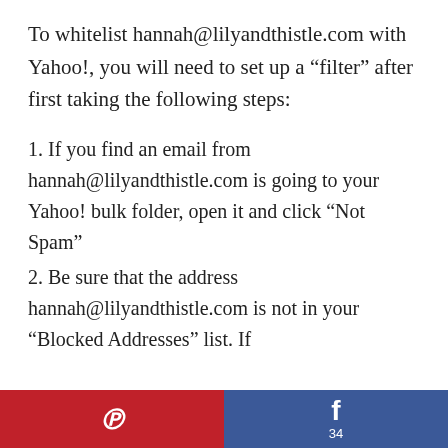To whitelist hannah@lilyandthistle.com with Yahoo!, you will need to set up a “filter” after first taking the following steps:
1. If you find an email from hannah@lilyandthistle.com is going to your Yahoo! bulk folder, open it and click “Not Spam”
2. Be sure that the address hannah@lilyandthistle.com is not in your “Blocked Addresses” list. If
Pinterest share | Facebook share 34